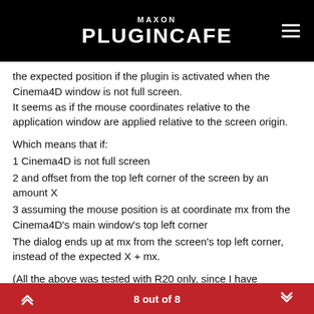MAXON PLUGINCAFE
the expected position if the plugin is activated when the Cinema4D window is not full screen.
It seems as if the mouse coordinates relative to the application window are applied relative to the screen origin.
Which means that if:
1 Cinema4D is not full screen
2 and offset from the top left corner of the screen by an amount X
3 assuming the mouse position is at coordinate mx from the Cinema4D's main window's top left corner
The dialog ends up at mx from the screen's top left corner, instead of the expected X + mx.
(All the above was tested with R20 only, since I have refrained from further R21 development)
8 out of 8